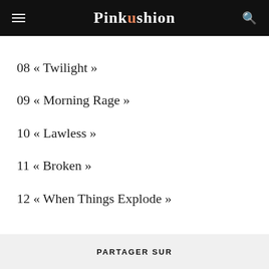Pinkushion
08 « Twilight »
09 « Morning Rage »
10 « Lawless »
11 « Broken »
12 « When Things Explode »
PARTAGER SUR